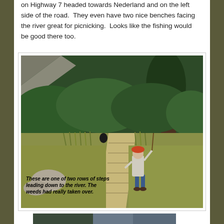on Highway 7 headed towards Nederland and on the left side of the road.  They even have two nice benches facing the river great for picnicking.  Looks like the fishing would be good there too.
[Figure (photo): A person wearing a red cap and grey jacket walking away from camera down a path with concrete steps leading toward a river, surrounded by tall grass, green shrubs and trees. An overlaid italic bold caption reads: 'These are one of two rows of steps leading down to the river. The weeds had really taken over.']
[Figure (photo): Partial view of a second photo at the bottom of the page showing a natural outdoor scene.]